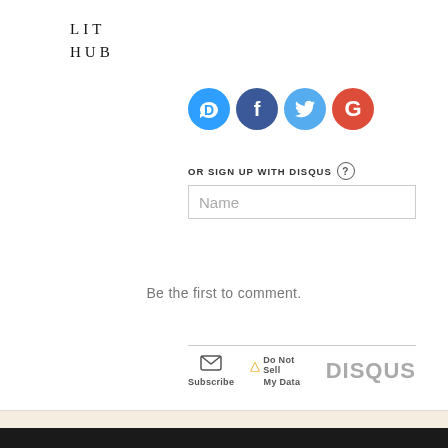LIT HUB
[Figure (logo): Social login icons: Disqus (blue circle D), Facebook (dark blue circle f), Twitter (light blue circle bird), Google (red circle G)]
OR SIGN UP WITH DISQUS ?
Name
Be the first to comment.
Subscribe   Do Not Sell My Data   DISQUS